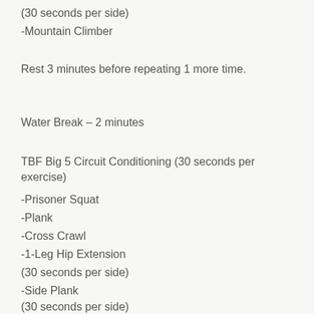(30 seconds per side)
-Mountain Climber
Rest 3 minutes before repeating 1 more time.
Water Break – 2 minutes
TBF Big 5 Circuit Conditioning (30 seconds per exercise)
-Prisoner Squat
-Plank
-Cross Crawl
-1-Leg Hip Extension
(30 seconds per side)
-Side Plank
(30 seconds per side)